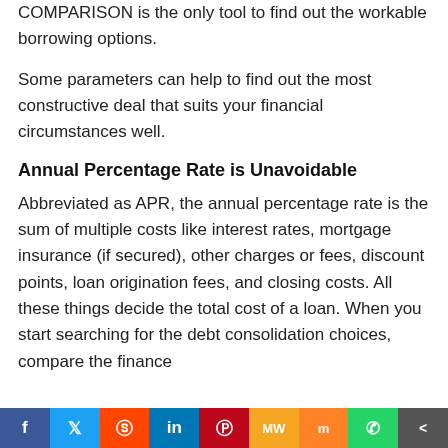COMPARISON is the only tool to find out the workable borrowing options.
Some parameters can help to find out the most constructive deal that suits your financial circumstances well.
Annual Percentage Rate is Unavoidable
Abbreviated as APR, the annual percentage rate is the sum of multiple costs like interest rates, mortgage insurance (if secured), other charges or fees, discount points, loan origination fees, and closing costs. All these things decide the total cost of a loan. When you start searching for the debt consolidation choices, compare the finance...